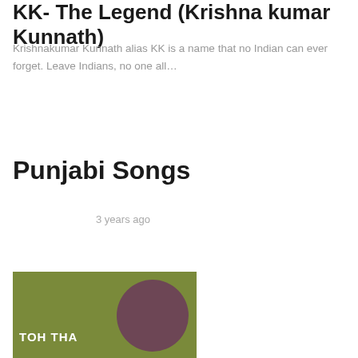KK- The Legend (Krishna kumar Kunnath)
Krishnakumar Kunnath alias KK is a name that no Indian can ever forget. Leave Indians, no one all…
Punjabi Songs
3 years ago
[Figure (photo): Album cover thumbnail with olive green background and a dark purple/maroon circle, with text 'TOH THA' in white bold letters]